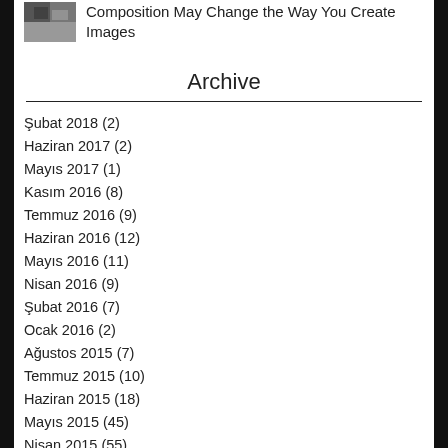[Figure (photo): Small thumbnail image, appears to be a black and white photo of an animal or person]
Composition May Change the Way You Create Images
Archive
Şubat 2018 (2)
Haziran 2017 (2)
Mayıs 2017 (1)
Kasım 2016 (8)
Temmuz 2016 (9)
Haziran 2016 (12)
Mayıs 2016 (11)
Nisan 2016 (9)
Şubat 2016 (7)
Ocak 2016 (2)
Ağustos 2015 (7)
Temmuz 2015 (10)
Haziran 2015 (18)
Mayıs 2015 (45)
Nisan 2015 (55)
Mart 2015 (14)
Şubat 2015 (44)